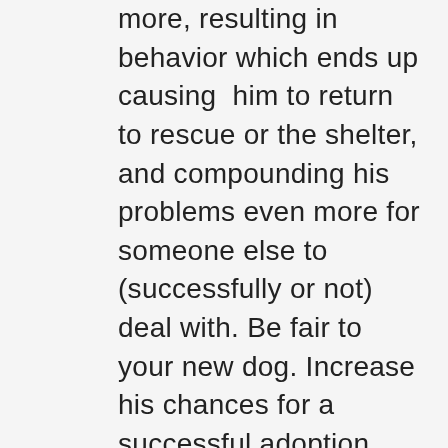more, resulting in behavior which ends up causing him to return to rescue or the shelter, and compounding his problems even more for someone else to (successfully or not) deal with. Be fair to your new dog. Increase his chances for a successful adoption, rather than decrease them.
You will want to immediately show your new dog off to all your friends and family. You will want to take him to the park, to classes, or on outings. You will want to let your children and/or other dog(s) play with him. You will want to play off leash Frisbee or fetch. PLEASE DON'T!!
All these things require the dog to